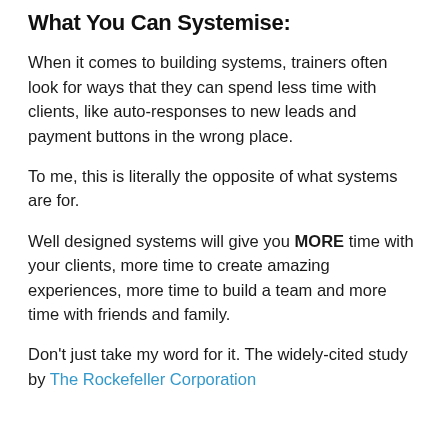What You Can Systemise:
When it comes to building systems, trainers often look for ways that they can spend less time with clients, like auto-responses to new leads and payment buttons in the wrong place.
To me, this is literally the opposite of what systems are for.
Well designed systems will give you MORE time with your clients, more time to create amazing experiences, more time to build a team and more time with friends and family.
Don't just take my word for it. The widely-cited study by The Rockefeller Corporation